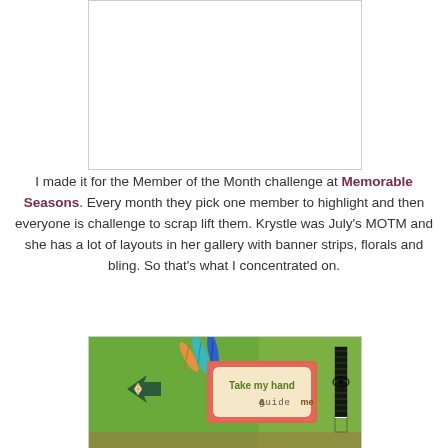[Figure (photo): White/blank image box with border at top center of page]
I made it for the Member of the Month challenge at Memorable Seasons. Every month they pick one member to highlight and then everyone is challenge to scrap lift them. Krystle was July's MOTM and she has a lot of layouts in her gallery with banner strips, florals and bling. So that's what I concentrated on.
[Figure (photo): Scrapbook layout photo showing a green card with feathers, an arrow, a pink patterned card reading 'Take my hand & guide me', and a ribbon on the right side]